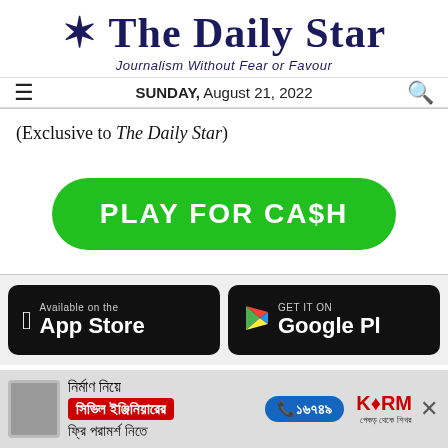The Daily Star
Journalism Without Fear or Favour
SUNDAY, August 21, 2022
(Exclusive to The Daily Star)
[Figure (other): Green pill-shaped button with white bold text reading PLAY FOR CA$H]
[Figure (other): App Store and Google Play store badges on dark background]
[Figure (other): Advertisement banner for civil engineering consultation service in Bengali with phone number 16749 and KSRM brand logo]